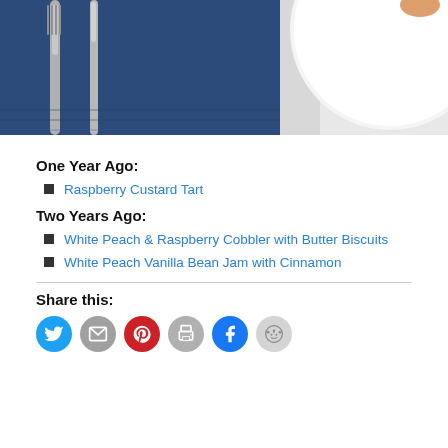[Figure (photo): Top-down photo of a plate with fork and knife on a dark blue napkin/placemat, with a white plate visible on the right side]
One Year Ago:
Raspberry Custard Tart
Two Years Ago:
White Peach & Raspberry Cobbler with Butter Biscuits
White Peach Vanilla Bean Jam with Cinnamon
Share this:
[Figure (infographic): Social sharing icons: Twitter (blue), Email (gray), Pinterest (red), Print (gray), Facebook (blue), Reddit (light gray)]